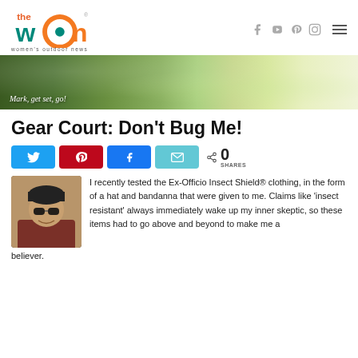the WOn — women's outdoor news
[Figure (photo): Nature banner with green foliage and white blossoms, italic text 'Mark, get set, go!']
Gear Court: Don't Bug Me!
[Figure (infographic): Social share buttons: Twitter (blue), Pinterest (red), Facebook (blue), Email (cyan), share count 0 SHARES]
[Figure (photo): Author photo: woman with sunglasses and dark beanie hat, smiling outdoors]
I recently tested the Ex-Officio Insect Shield® clothing, in the form of a hat and bandanna that were given to me. Claims like 'insect resistant' always immediately wake up my inner skeptic, so these items had to go above and beyond to make me a believer.